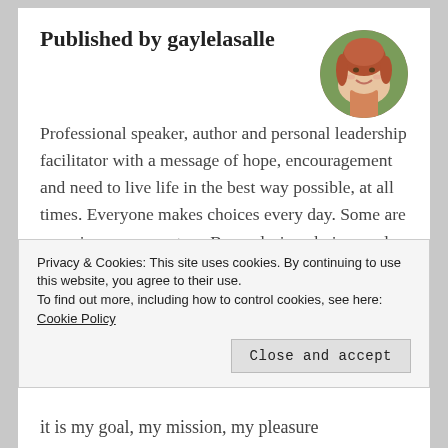Published by gaylelasalle
[Figure (photo): Circular portrait photo of a woman with red/auburn hair, smiling, against a green background]
Professional speaker, author and personal leadership facilitator with a message of hope, encouragement and need to live life in the best way possible, at all times. Everyone makes choices every day. Some are conscious, some not so. By exploring choices and making the best ones, we become empowered. Life, jobs, relationships and finances all become choices rather than chance. This is...
Privacy & Cookies: This site uses cookies. By continuing to use this website, you agree to their use.
To find out more, including how to control cookies, see here: Cookie Policy
it is my goal, my mission, my pleasure